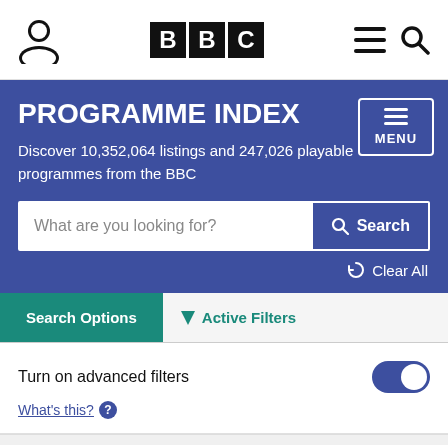BBC Programme Index
PROGRAMME INDEX
Discover 10,352,064 listings and 247,026 playable programmes from the BBC
What are you looking for? Search
Clear All
Search Options
Active Filters
Turn on advanced filters
What's this?